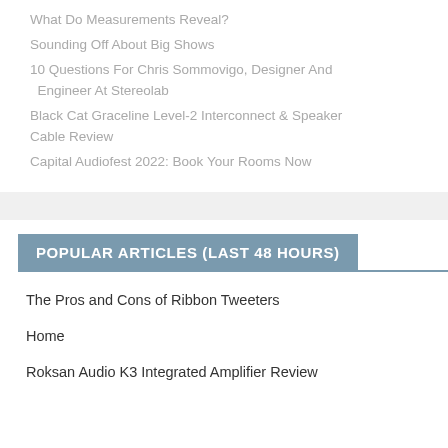What Do Measurements Reveal?
Sounding Off About Big Shows
10 Questions For Chris Sommovigo, Designer And Engineer At Stereolab
Black Cat Graceline Level-2 Interconnect & Speaker Cable Review
Capital Audiofest 2022: Book Your Rooms Now
POPULAR ARTICLES (LAST 48 HOURS)
The Pros and Cons of Ribbon Tweeters
Home
Roksan Audio K3 Integrated Amplifier Review